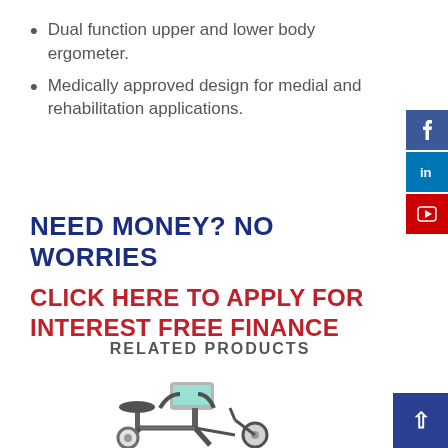Dual function upper and lower body ergometer.
Medically approved design for medial and rehabilitation applications.
NEED MONEY? NO WORRIES
CLICK HERE TO APPLY FOR INTEREST FREE FINANCE
RELATED PRODUCTS
[Figure (photo): Exercise bike / ergometer product image]
[Figure (infographic): Social media sidebar with Facebook, LinkedIn, YouTube icons]
[Figure (other): Back to top button with upward arrow]